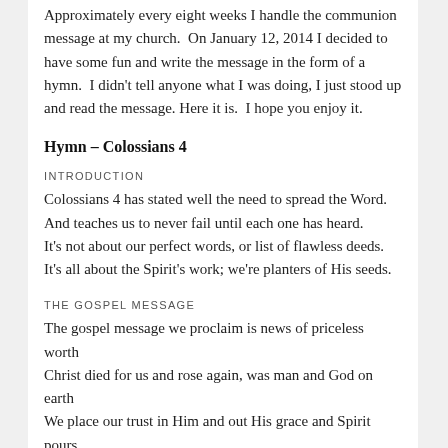Approximately every eight weeks I handle the communion message at my church.  On January 12, 2014 I decided to have some fun and write the message in the form of a hymn.  I didn't tell anyone what I was doing, I just stood up and read the message. Here it is.  I hope you enjoy it.
Hymn – Colossians 4
INTRODUCTION
Colossians 4 has stated well the need to spread the Word.
And teaches us to never fail until each one has heard.
It's not about our perfect words, or list of flawless deeds.
It's all about the Spirit's work; we're planters of His seeds.
THE GOSPEL MESSAGE
The gospel message we proclaim is news of priceless worth
Christ died for us and rose again, was man and God on earth
We place our trust in Him and out His grace and Spirit pours
It's His work on the cross that breaks our chains and